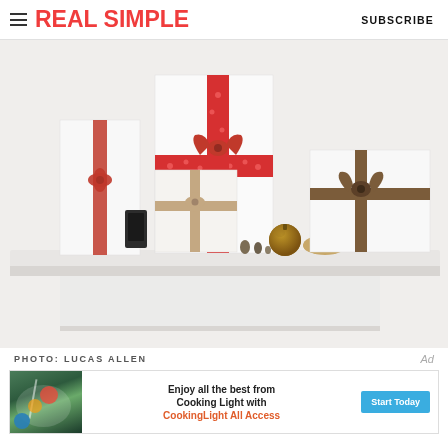REAL SIMPLE | SUBSCRIBE
[Figure (photo): Wrapped gift boxes with ribbons (red polka dot, tan, brown) and decorative items arranged on a white mantle shelf. Holiday gift wrapping scene with various ribbon colors and bow styles.]
PHOTO: LUCAS ALLEN
[Figure (other): Advertisement banner for CookingLight All Access: 'Enjoy all the best from Cooking Light with CookingLight All Access' with a 'Start Today' blue button and food photography on the left.]